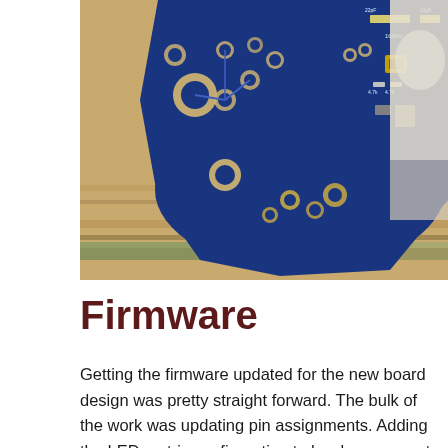[Figure (photo): Close-up photo of a blue PCB (printed circuit board) with solder pads, electronic components including a crystal oscillator labeled 16MHz, resistors labeled 4.7k, and various through-hole and SMD component footprints. The board is placed on a wooden surface with paint marks.]
Firmware
Getting the firmware updated for the new board design was pretty straight forward. The bulk of the work was updating pin assignments. Adding the LED matrix configuration to hardware meant that the occasion had